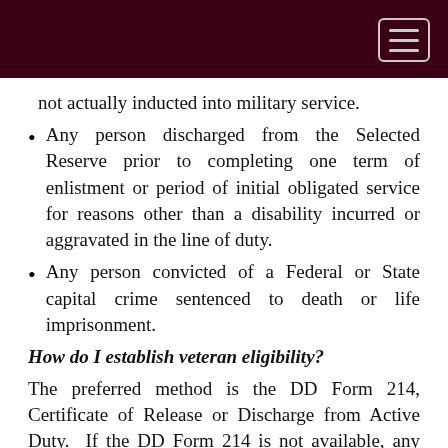not actually inducted into military service.
Any person discharged from the Selected Reserve prior to completing one term of enlistment or period of initial obligated service for reasons other than a disability incurred or aggravated in the line of duty.
Any person convicted of a Federal or State capital crime sentenced to death or life imprisonment.
How do I establish veteran eligibility?
The preferred method is the DD Form 214, Certificate of Release or Discharge from Active Duty.  If the DD Form 214 is not available, any discharge document showing